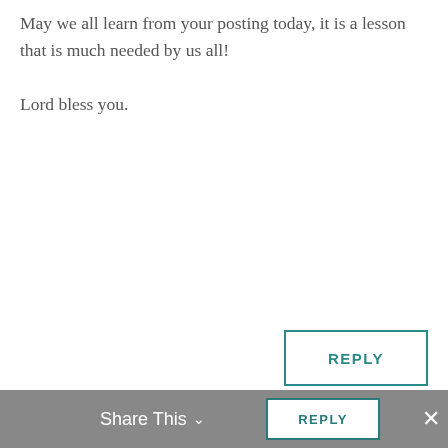May we all learn from your posting today, it is a lesson that is much needed by us all!

Lord bless you.
REPLY
seeingdeep1 on September 29, 2014 at 5:07 am
Thank you, brother! The blog is written always to myself, too. God is so kind to reveal things to our hearts! Amen!
Share This  REPLY  ×